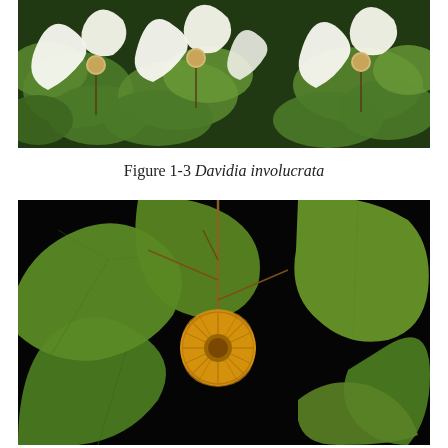[Figure (photo): Photograph of Davidia involucrata in bloom, showing white bracts (large white petal-like structures) surrounding flower heads with green heart-shaped leaves in background]
Figure 1-3 Davidia involucrata
[Figure (photo): Close-up photograph of Davidia involucrata flower head (yellow-orange spherical flower cluster) surrounded by large green lobed leaves against a dark/black background]